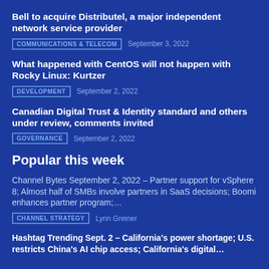Bell to acquire Distributel, a major independent network service provider
COMMUNICATIONS & TELECOM  September 3, 2022
What happened with CentOS will not happen with Rocky Linux: Kurtzer
DEVELOPMENT  September 2, 2022
Canadian Digital Trust & Identity standard and others under review, comments invited
GOVERNANCE  September 2, 2022
Popular this week
Channel Bytes September 2, 2022 – Partner support for vSphere 8; Almost half of SMBs involve partners in SaaS decisions; Boomi enhances partner program;…
CHANNEL STRATEGY  Lynn Greiner
Hashtag Trending Sept. 2 – California's power shortage; U.S. restricts China's AI chip access; California's digital…